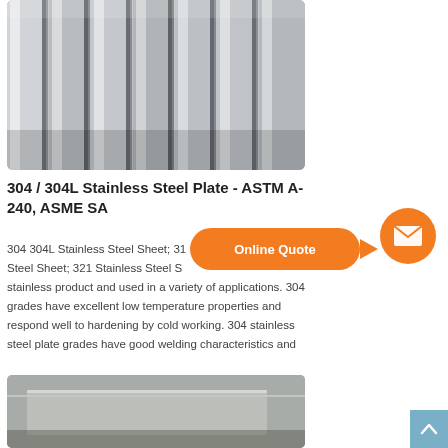[Figure (photo): Photo of stainless steel square bars/billets stacked together, showing polished metallic surfaces with alternating light and shadow]
304 / 304L Stainless Steel Plate - ASTM A-240, ASME SA
304 304L Stainless Steel Sheet; 316 Stainless Steel Sheet; 321 Stainless Steel Sheet; stainless product and used in a variety of applications. 304 grades have excellent low temperature properties and respond well to hardening by cold working. 304 stainless steel plate grades have good welding characteristics and
[Figure (infographic): Online Quote speech bubble button in orange with arrow pointing right]
[Figure (photo): Photo of a stainless steel plate lying on the ground]